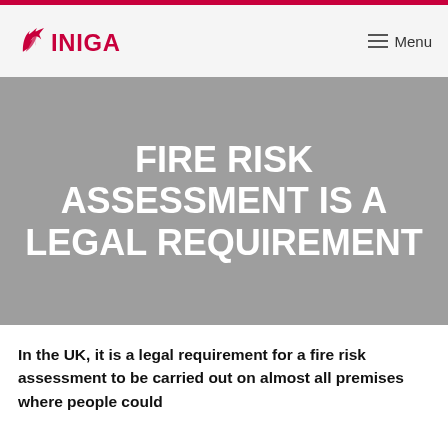INIGA | Menu
FIRE RISK ASSESSMENT IS A LEGAL REQUIREMENT
In the UK, it is a legal requirement for a fire risk assessment to be carried out on almost all premises where people could